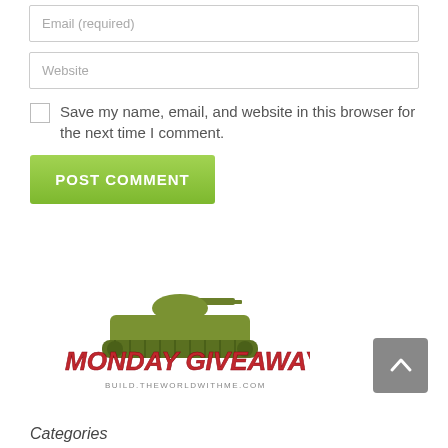Email (required)
Website
Save my name, email, and website in this browser for the next time I comment.
POST COMMENT
[Figure (logo): Monday Giveaway logo with a military tank silhouette in olive green and bold red italic text reading MONDAY GIVEAWAY, with tagline BUILD.THEWORLDWITHME.COM]
Categories